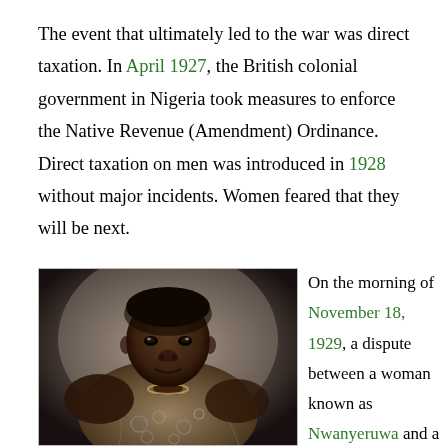The event that ultimately led to the war was direct taxation. In April 1927, the British colonial government in Nigeria took measures to enforce the Native Revenue (Amendment) Ordinance. Direct taxation on men was introduced in 1928 without major incidents. Women feared that they will be next.
[Figure (photo): Black and white photograph of a woman, likely Nigerian, wearing traditional patterned cloth and a necklace, looking directly at the camera.]
On the morning of November 18, 1929, a dispute between a woman known as Nwanyeruwa and a tax collector by the